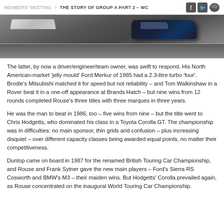MEMBERS' MEETING > THE STORY OF GROUP A PART 2 – WC
[Figure (photo): Racing car on a track, viewed from slightly elevated angle, showing a dark-colored touring car navigating a curve with kerbing visible in the background.]
The latter, by now a driver/engineer/team owner, was swift to respond. His North American-market 'jelly mould' Ford Merkur of 1985 had a 2.3-litre turbo 'four'. Brodie's Mitsubishi matched it for speed but not reliability – and Tom Walkinshaw in a Rover beat it in a one-off appearance at Brands Hatch – but nine wins from 12 rounds completed Rouse's three titles with three marques in three years.
He was the man to beat in 1986, too – five wins from nine – but the title went to Chris Hodgetts, who dominated his class in a Toyota Corolla GT. The championship was in difficulties: no main sponsor, thin grids and confusion – plus increasing disquiet – over different capacity classes being awarded equal points, no matter their competitiveness.
Dunlop came on board in 1987 for the renamed British Touring Car Championship, and Rouse and Frank Sytner gave the new main players – Ford's Sierra RS Cosworth and BMW's M3 – their maiden wins. But Hodgetts' Corolla prevailed again, as Rouse concentrated on the inaugural World Touring Car Championship.